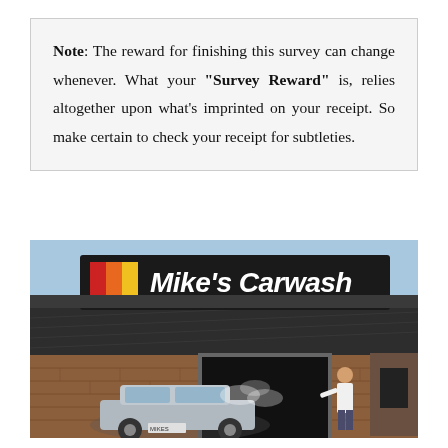Note: The reward for finishing this survey can change whenever. What your "Survey Reward" is, relies altogether upon what's imprinted on your receipt. So make certain to check your receipt for subtleties.
[Figure (photo): Exterior photo of a Mike's Carwash location showing the storefront sign with the Mike's Carwash logo (red, orange, yellow stripes), a silver car entering the wash bay, and a worker standing outside.]